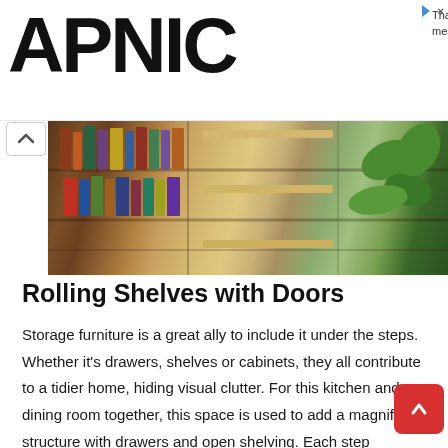APNIC
Thank you for helping us measure the Internet.
[Figure (photo): Photo of wooden bookshelves and storage furniture with books, drawers, and plants in a home interior setting.]
Rolling Shelves with Doors
Storage furniture is a great ally to include it under the steps. Whether it's drawers, shelves or cabinets, they all contribute to a tidier home, hiding visual clutter. For this kitchen and dining room together, this space is used to add a magnificent structure with drawers and open shelving. Each step encompasses a row of drawers, this way this shared environment looks organized, with clean and straight lines.